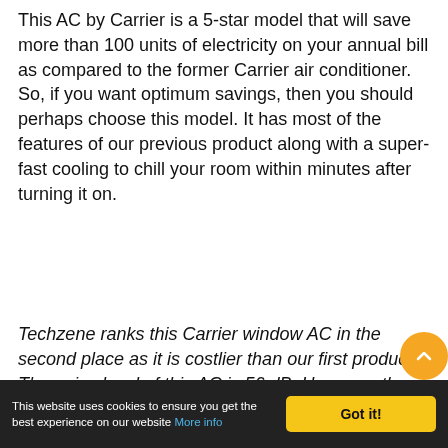This AC by Carrier is a 5-star model that will save more than 100 units of electricity on your annual bill as compared to the former Carrier air conditioner. So, if you want optimum savings, then you should perhaps choose this model. It has most of the features of our previous product along with a super-fast cooling to chill your room within minutes after turning it on.
Techzene ranks this Carrier window AC in the second place as it is costlier than our first product. The noise level of this AC is 56 dB. However, the customers are of the opinion that can be rated...
This website uses cookies to ensure you get the best experience on our website More info   Got it!